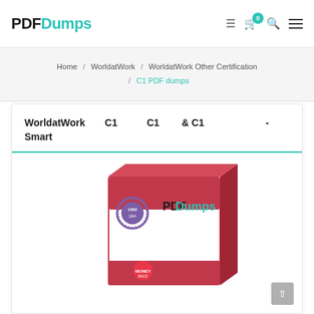PDFDumps
Home / WorldatWork / WorldatWork Other Certification / C1 PDF dumps
WorldatWork　C1　　C1　 & C1　　　　 - Smart
[Figure (illustration): PDFDumps product box showing a study guide book with maroon and white color scheme, featuring a certification seal logo and the PDFDumps brand name in black and teal.]